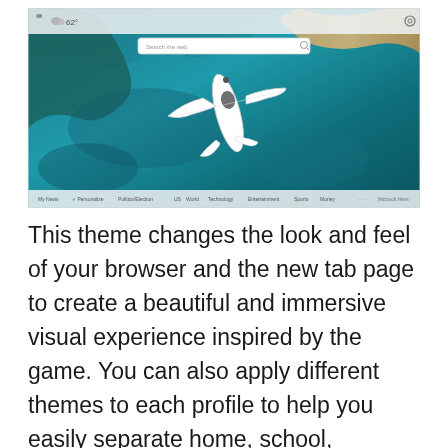[Figure (screenshot): Screenshot of a browser new tab page showing a Microsoft Flight Simulator theme. The background is an aerial view of a white small aircraft flying over teal/blue ocean water near a sandy coastline. The browser UI shows a search bar in the center top reading 'Search the web', a weather icon showing 62°, a settings gear icon in the top right, and a news navigation bar at the bottom with categories: My News, Personalize, Politics/Election, US, World, Technology, Entertainment, Sports, Money, and Microsoft News branding.]
This theme changes the look and feel of your browser and the new tab page to create a beautiful and immersive visual experience inspired by the game. You can also apply different themes to each profile to help you easily separate home, school,